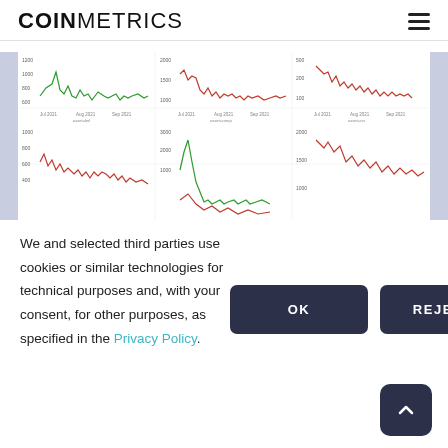COINMETRICS
[Figure (line-chart): Six small line charts arranged in 2 rows of 3, showing cryptocurrency metrics (bnl, comp, crv, and others) from Jul 2021 to Sep 2021. Charts show red and green lines with various price/metric values.]
We and selected third parties use cookies or similar technologies for technical purposes and, with your consent, for other purposes, as specified in the Privacy Policy.